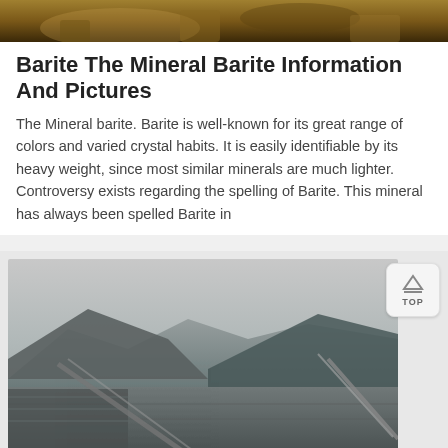[Figure (photo): Top portion of a photo showing rocks/minerals, partially cropped]
Barite The Mineral Barite Information And Pictures
The Mineral barite. Barite is well-known for its great range of colors and varied crystal habits. It is easily identifiable by its heavy weight, since most similar minerals are much lighter. Controversy exists regarding the spelling of Barite. This mineral has always been spelled Barite in
[Figure (photo): A barite mining site with mountainous terrain in the background and industrial equipment/conveyor structures in the foreground]
[Figure (other): TOP navigation button with upward-pointing triangle icon]
Message
Online Chat